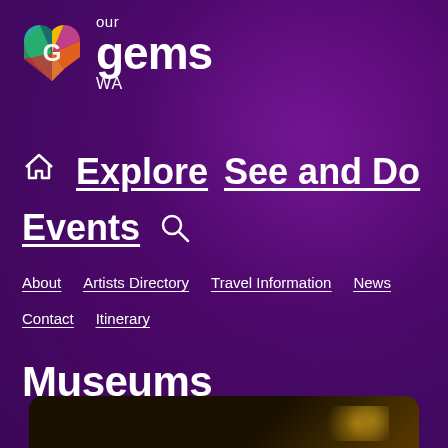[Figure (logo): Our Gems WA logo — colorful gem/heart icon with 'our gems WA' text in white on purple background]
🏠 Explore  See and Do
Events 🔍
About  Artists Directory  Travel Information  News
Contact  Itinerary
Museums
[Figure (photo): Dark image strip at the bottom with golden sparkle/glitter effect on dark background]